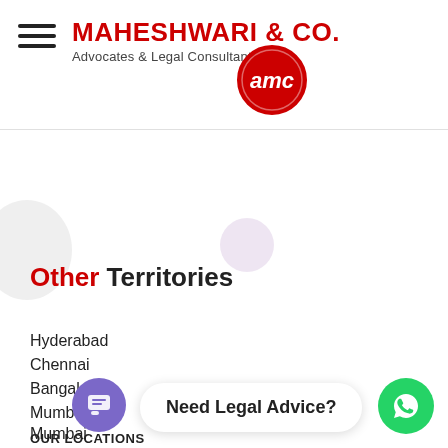MAHESHWARI & CO. Advocates & Legal Consultants
[Figure (logo): Circular red logo with white 'amc' lettering for Maheshwari & Co.]
Other Territories
Hyderabad
Chennai
Bangalore
Mumbai
Mumbai
OUR LOCATIONS
Need Legal Advice?